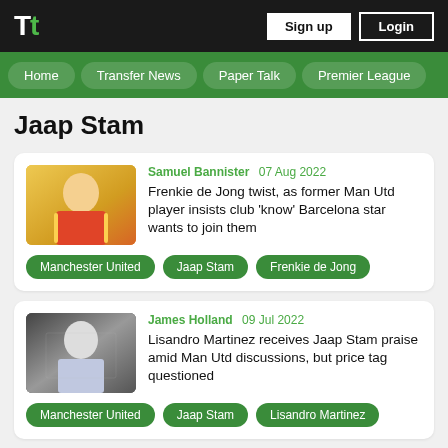Tt — Sign up | Login
Home | Transfer News | Paper Talk | Premier League
Jaap Stam
Samuel Bannister  07 Aug 2022
Frenkie de Jong twist, as former Man Utd player insists club 'know' Barcelona star wants to join them
Manchester United  Jaap Stam  Frenkie de Jong
James Holland  09 Jul 2022
Lisandro Martinez receives Jaap Stam praise amid Man Utd discussions, but price tag questioned
Manchester United  Jaap Stam  Lisandro Martinez
Neil Foster  19 Jun 2022